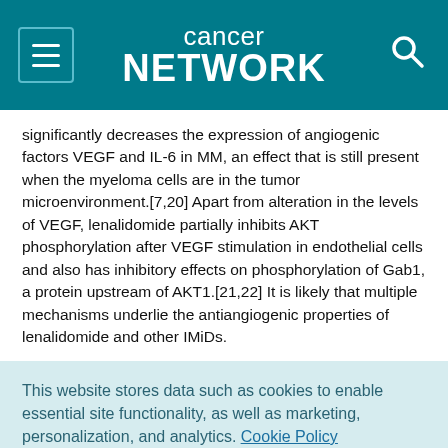cancer network
significantly decreases the expression of angiogenic factors VEGF and IL-6 in MM, an effect that is still present when the myeloma cells are in the tumor microenvironment.[7,20] Apart from alteration in the levels of VEGF, lenalidomide partially inhibits AKT phosphorylation after VEGF stimulation in endothelial cells and also has inhibitory effects on phosphorylation of Gab1, a protein upstream of AKT1.[21,22] It is likely that multiple mechanisms underlie the antiangiogenic properties of lenalidomide and other IMiDs.
This website stores data such as cookies to enable essential site functionality, as well as marketing, personalization, and analytics. Cookie Policy
Accept
Deny